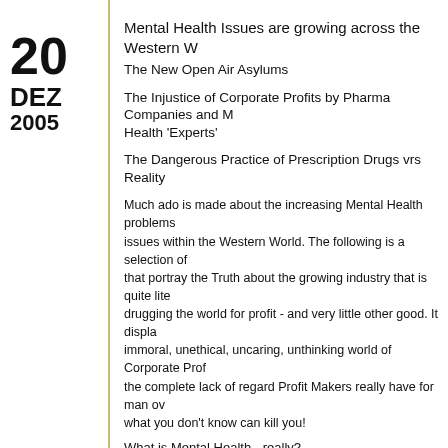20 DEZ 2005
Mental Health Issues are growing across the Western W
The New Open Air Asylums
The Injustice of Corporate Profits by Pharma Companies and M Health 'Experts'
The Dangerous Practice of Prescription Drugs vrs Reality
Much ado is made about the increasing Mental Health problems issues within the Western World. The following is a selection of that portray the Truth about the growing industry that is quite lite drugging the world for profit - and very little other good. It displa immoral, unethical, uncaring, unthinking world of Corporate Prof the complete lack of regard Profit Makers really have for man ov what you don't know can kill you!
What is Mental Health - really?
Definitions of Mental health on the Web:
* the successful performance of mental function, resulting in pro activities, fulfilling relationships with other people and the ability adapt to change and cope with adversity; from early childhood u late life, mental health is the springboard of thinking and communications skills, learning, emotional growth, resilience an esteem.